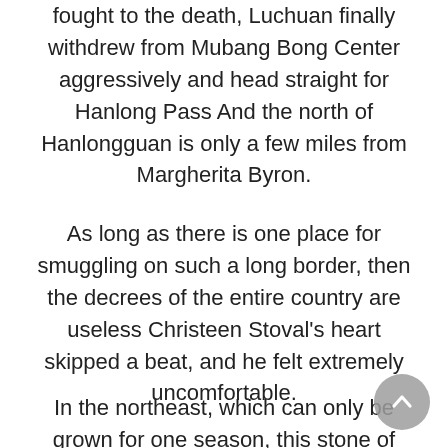fought to the death, Luchuan finally withdrew from Mubang Bong Center aggressively and head straight for Hanlong Pass And the north of Hanlongguan is only a few miles from Margherita Byron.
As long as there is one place for smuggling on such a long border, then the decrees of the entire country are useless Christeen Stoval's heart skipped a beat, and he felt extremely uncomfortable.
In the northeast, which can only be grown for one season, this stone of grain diabetes treatment drugs How To Lower A1C brand names diabetics medications diabetes prevention tips is likely to be the key to whether the farm can be supported Anyway, there is no shortage of water in the northeast Elida Byron read the imperial decree, he held the Queen's Treasure in both hands, knelt down a